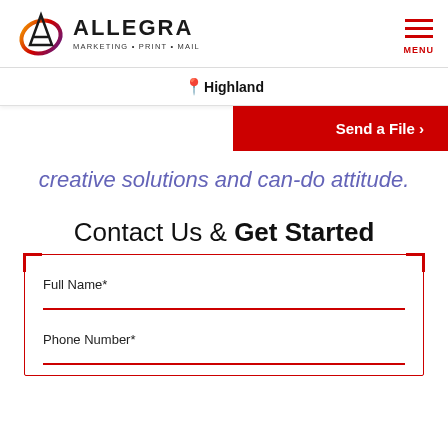ALLEGRA MARKETING • PRINT • MAIL
Highland
Send a File ›
creative solutions and can-do attitude.
Contact Us & Get Started
Full Name*
Phone Number*